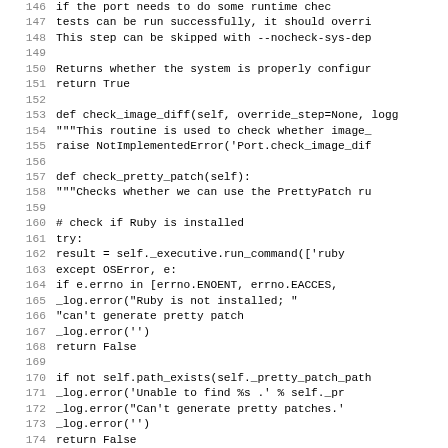Code listing lines 146-178, Python source code showing check_image_diff, check_pretty_patch, and compare_text methods